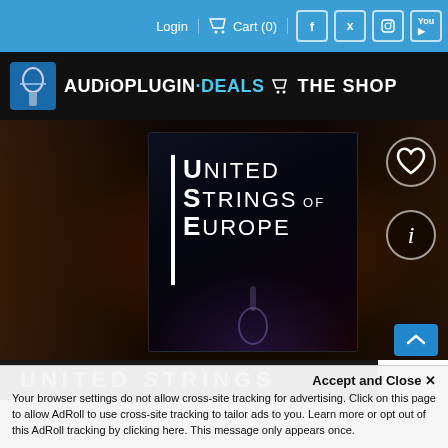Login  Cart (0)
[Figure (logo): AudioPlugin.Deals THE SHOP logo with shopping cart icon on dark background]
[Figure (photo): United Strings of Europe product box artwork showing violin on dark dramatic background with glowing lighting, violin strings close-up, heart wishlist icon and info icon overlaid]
UNITED STRINGS
Accept and Close ×
Your browser settings do not allow cross-site tracking for advertising. Click on this page to allow AdRoll to use cross-site tracking to tailor ads to you. Learn more or opt out of this AdRoll tracking by clicking here. This message only appears once.